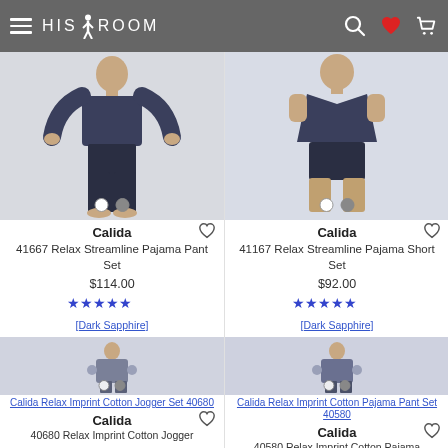HIS ROOM
[Figure (photo): Man wearing Calida Relax Streamline Pajama Pant Set in dark navy, long sleeve top and pants]
Calida
41667 Relax Streamline Pajama Pant Set
$114.00
[Figure (other): 5 blue star rating]
Dark Sapphire
[Figure (photo): Man wearing Calida Relax Streamline Pajama Short Set in dark navy, short sleeve top and shorts]
Calida
41167 Relax Streamline Pajama Short Set
$92.00
[Figure (other): 5 blue star rating]
Dark Sapphire
[Figure (photo): Calida Relax Imprint Cotton Jogger Set 40680]
Calida Relax Imprint Cotton Jogger Set 40680
Calida
40680 Relax Imprint Cotton Jogger
[Figure (photo): Calida Relax Imprint Cotton Pajama Pant Set 40580]
Calida Relax Imprint Cotton Pajama Pant Set 40580
Calida
40580 Relax Imprint Cotton Pajama